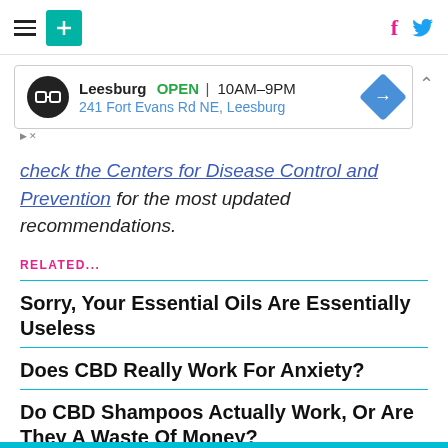HuffPost navigation with hamburger menu, logo, Facebook and Twitter icons
[Figure (infographic): Ad banner for a store in Leesburg: OPEN 10AM-9PM, 241 Fort Evans Rd NE, Leesburg]
check the Centers for Disease Control and Prevention for the most updated recommendations.
RELATED...
Sorry, Your Essential Oils Are Essentially Useless
Does CBD Really Work For Anxiety?
Do CBD Shampoos Actually Work, Or Are They A Waste Of Money?